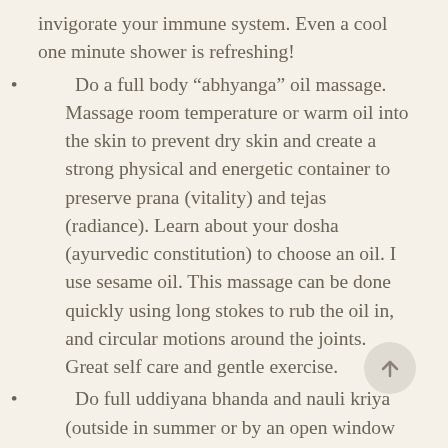invigorate your immune system. Even a cool one minute shower is refreshing!
Do a full body “abhyanga” oil massage. Massage room temperature or warm oil into the skin to prevent dry skin and create a strong physical and energetic container to preserve prana (vitality) and tejas (radiance). Learn about your dosha (ayurvedic constitution) to choose an oil. I use sesame oil. This massage can be done quickly using long stokes to rub the oil in, and circular motions around the joints. Great self care and gentle exercise.
Do full uddiyana bhanda and nauli kriya (outside in summer or by an open window when weather is cool) to relax the belly, clear stale air from the lungs, oxygentate your